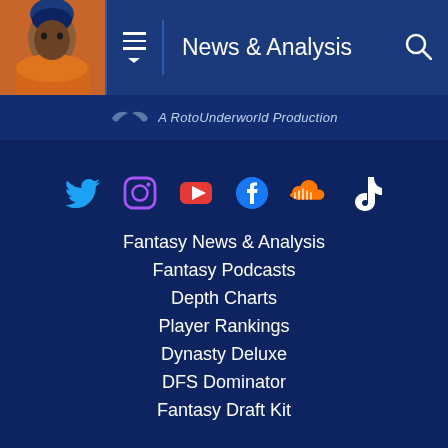News & Analysis
A RotoUnderworld Production
[Figure (infographic): Social media icons row: Twitter (blue bird), Instagram (purple camera), YouTube (red play button), Facebook (blue f), SoundCloud (orange waveform), TikTok (black musical note)]
Fantasy News & Analysis
Fantasy Podcasts
Depth Charts
Player Rankings
Dynasty Deluxe
DFS Dominator
Fantasy Draft Kit
Fantasy Data Analysis
PlayerProfiler Edge
My Account
About
Jobs